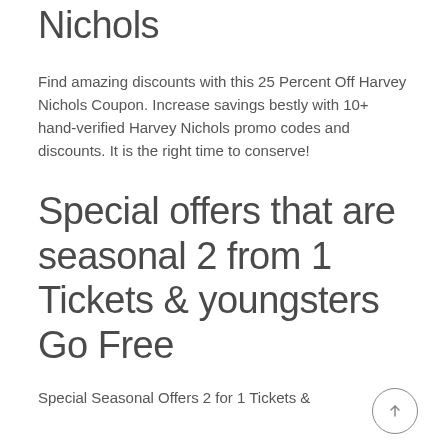Nichols
Find amazing discounts with this 25 Percent Off Harvey Nichols Coupon. Increase savings bestly with 10+ hand-verified Harvey Nichols promo codes and discounts. It is the right time to conserve!
Special offers that are seasonal 2 from 1 Tickets & youngsters Go Free
Special Seasonal Offers 2 for 1 Tickets &